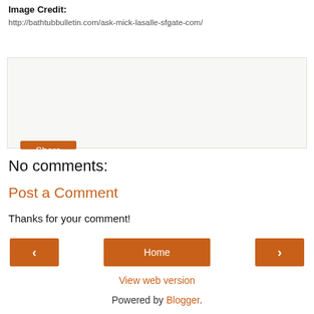Image Credit:
http://bathtubbulletin.com/ask-mick-lasalle-sfgate-com/
[Figure (other): Share widget box with a Share button]
No comments:
Post a Comment
Thanks for your comment!
< Home >
View web version
Powered by Blogger.